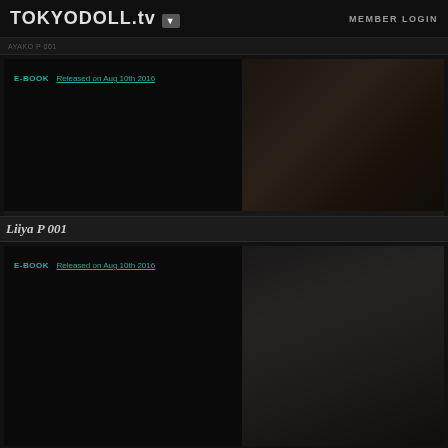TOKYODOLL.tv ▼  MEMBER LOGIN
AYAKO P 001
[Figure (photo): Dark webpage card showing E-BOOK Released on Aug 10th 2016 with a dark fashion photo on the right]
Liiya P 001
[Figure (photo): Dark webpage card showing E-BOOK Released on Aug 10th 2016 with a dark fashion photo on the right]